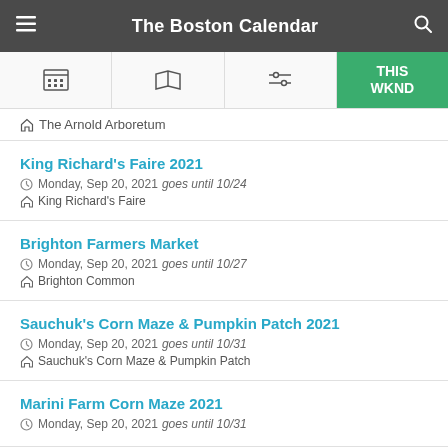The Boston Calendar
The Arnold Arboretum
King Richard's Faire 2021
Monday, Sep 20, 2021 goes until 10/24
King Richard's Faire
Brighton Farmers Market
Monday, Sep 20, 2021 goes until 10/27
Brighton Common
Sauchuk's Corn Maze & Pumpkin Patch 2021
Monday, Sep 20, 2021 goes until 10/31
Sauchuk's Corn Maze & Pumpkin Patch
Marini Farm Corn Maze 2021
Monday, Sep 20, 2021 goes until 10/31